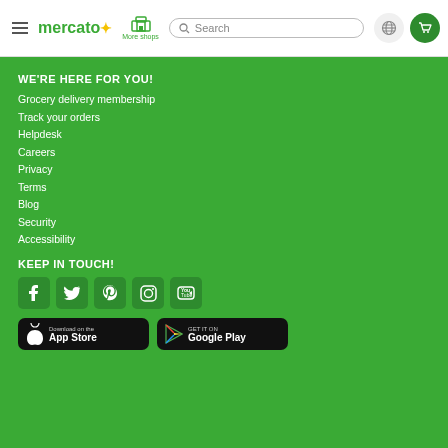mercato — More shops — Search — Globe — Cart
WE'RE HERE FOR YOU!
Grocery delivery membership
Track your orders
Helpdesk
Careers
Privacy
Terms
Blog
Security
Accessibility
KEEP IN TOUCH!
[Figure (logo): Social media icons: Facebook, Twitter, Pinterest, Instagram, YouTube]
[Figure (logo): Download on the App Store and Get it on Google Play buttons]